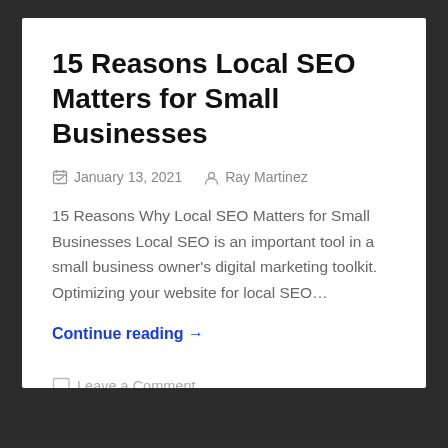15 Reasons Local SEO Matters for Small Businesses
January 13, 2021   Ray Martinez
15 Reasons Why Local SEO Matters for Small Businesses Local SEO is an important tool in a small business owner's digital marketing toolkit. Optimizing your website for local SEO…
Continue reading →
Leave a Comment